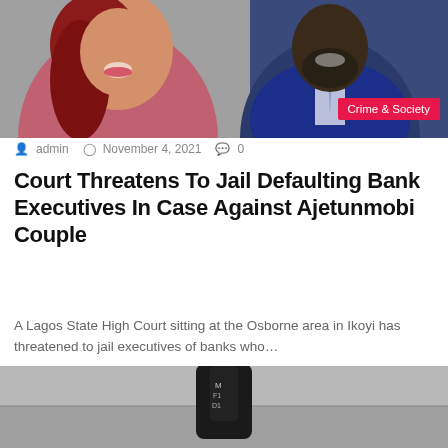[Figure (photo): Photo of two people: a woman with red hair on the left and a man in a blue suit on the right, with a 'Crime & Society' category badge overlaid at bottom right]
admin   November 4, 2021   0
Court Threatens To Jail Defaulting Bank Executives In Case Against Ajetunmobi Couple
A Lagos State High Court sitting at the Osborne area in Ikoyi has threatened to jail executives of banks who…
Read More »
[Figure (photo): Close-up photo of a black object (appears to be a gun or firearm) on a grey surface]